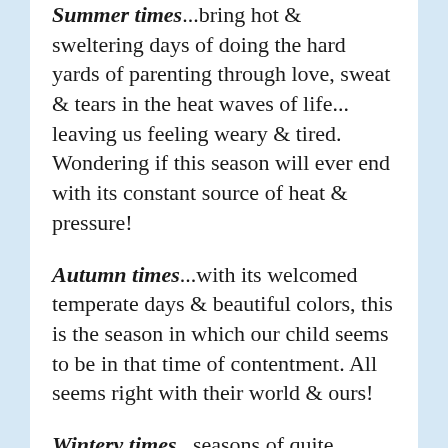Summer times...bring hot & sweltering days of doing the hard yards of parenting through love, sweat & tears in the heat waves of life... leaving us feeling weary & tired. Wondering if this season will ever end with its constant source of heat & pressure!
Autumn times...with its welcomed temperate days & beautiful colors, this is the season in which our child seems to be in that time of contentment. All seems right with their world & ours!
Wintery times...seasons of quite contemplation, where our child is becoming or has become their own person. Though still needing those times of joining us around a warm & cozy hearth of love & support, especially when those stormy blasts of life